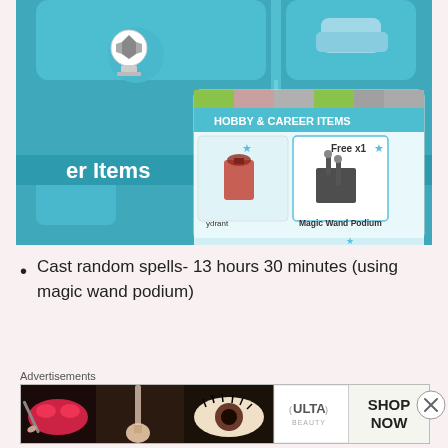[Figure (screenshot): Screenshot of a mobile game (The Sims) showing a teal/blue game interface with hobby & career items menu open, showing a Magic Wand Podium item available 'Free x1', and partial view of other items including a fire hydrant. A soccer ball trophy icon visible in upper area.]
Cast random spells- 13 hours 30 minutes (using magic wand podium)
Advertisements
[Figure (photo): Ulta Beauty advertisement banner showing makeup imagery - lips, makeup brush, eye with lashes, Ulta Beauty logo, glamorous eye close-up, and SHOP NOW call to action button.]